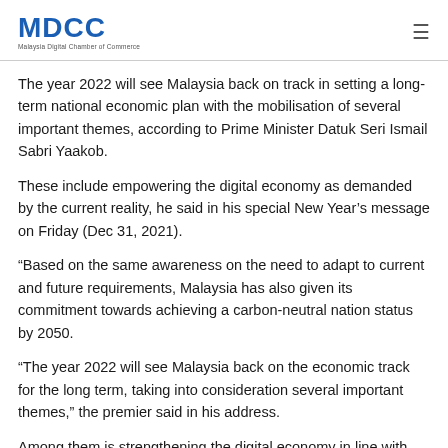MDCC Malaysia Digital Chamber of Commerce
The year 2022 will see Malaysia back on track in setting a long-term national economic plan with the mobilisation of several important themes, according to Prime Minister Datuk Seri Ismail Sabri Yaakob.
These include empowering the digital economy as demanded by the current reality, he said in his special New Year’s message on Friday (Dec 31, 2021).
“Based on the same awareness on the need to adapt to current and future requirements, Malaysia has also given its commitment towards achieving a carbon-neutral nation status by 2050.
“The year 2022 will see Malaysia back on the economic track for the long term, taking into consideration several important themes,” the premier said in his address.
Among them is strengthening the digital economy in line with the current reality,